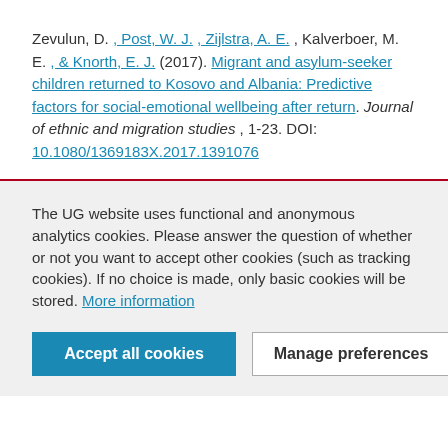Zevulun, D. , Post, W. J. , Zijlstra, A. E. , Kalverboer, M. E. , & Knorth, E. J. (2017). Migrant and asylum-seeker children returned to Kosovo and Albania: Predictive factors for social-emotional wellbeing after return. Journal of ethnic and migration studies , 1-23. DOI: 10.1080/1369183X.2017.1391076
The UG website uses functional and anonymous analytics cookies. Please answer the question of whether or not you want to accept other cookies (such as tracking cookies). If no choice is made, only basic cookies will be stored. More information
Accept all cookies | Manage preferences